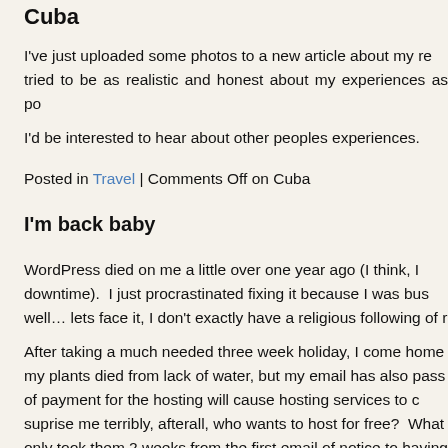Cuba
I've just uploaded some photos to a new article about my re tried to be as realistic and honest about my experiences as po
I'd be interested to hear about other peoples experiences.
Posted in Travel | Comments Off on Cuba
I'm back baby
WordPress died on me a little over one year ago (I think, I downtime).  I just procrastinated fixing it because I was bus well… lets face it, I don't exactly have a religious following of r
After taking a much needed three week holiday, I come home my plants died from lack of water, but my email has also pass of payment for the hosting will cause hosting services to c suprise me terribly, afterall, who wants to host for free?  What only took them 2 weeks from the first email of notice to having I was mildly annoyed that I may have lost some emails, and working on domain problems, I should spend some time fixing
Well, here it is folks, the exact same posts as before in all ne 🙂  Enjoy....